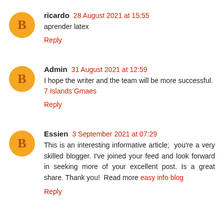ricardo 28 August 2021 at 15:55
aprender latex
Reply
Admin 31 August 2021 at 12:59
I hope the writer and the team will be more successful.
7 Islands Gmaes
Reply
Essien 3 September 2021 at 07:29
This is an interesting informative article;  you're a very skilled blogger. I've joined your feed and look forward in seeking more of your excellent post. Is a great share. Thank you!  Read more easy info blog
Reply